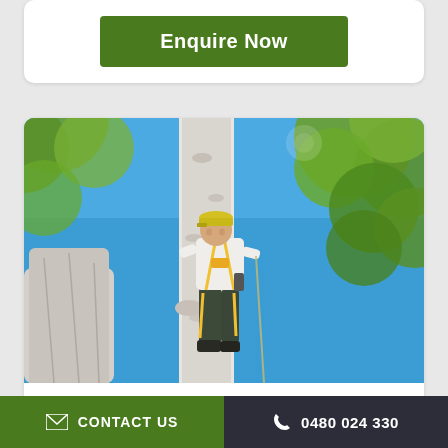[Figure (other): Green button labeled 'Enquire Now' on a white card background]
[Figure (photo): An arborist/tree surgeon wearing a hard hat and safety harness, climbing a tall white birch tree trunk, with green leafy branches visible against a bright blue sky]
Tree Services
CONTACT US   0480 024 330